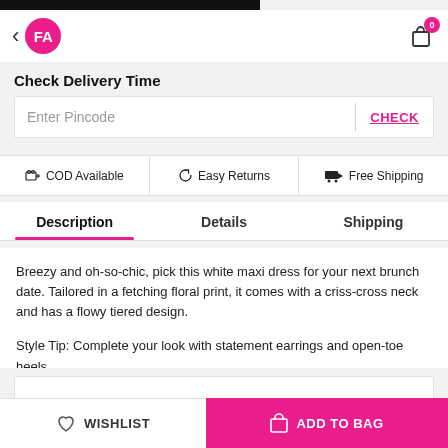< FA  [cart icon] 0
Check Delivery Time
Enter Pincode  CHECK
COD Available   Easy Returns   Free Shipping
Description  Details  Shipping
Breezy and oh-so-chic, pick this white maxi dress for your next brunch date. Tailored in a fetching floral print, it comes with a criss-cross neck and has a flowy tiered design.

Style Tip: Complete your look with statement earrings and open-toe heels.
MORE MAXI DRESSES >
WISHLIST  ADD TO BAG